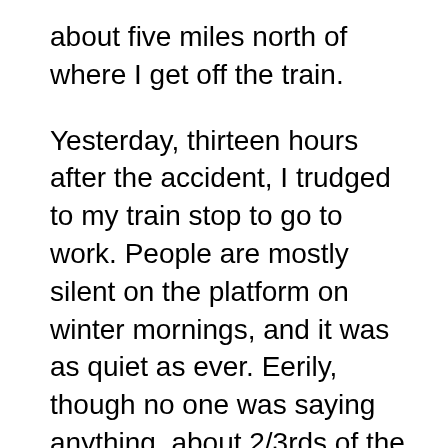about five miles north of where I get off the train.
Yesterday, thirteen hours after the accident, I trudged to my train stop to go to work. People are mostly silent on the platform on winter mornings, and it was as quiet as ever. Eerily, though no one was saying anything, about 2/3rds of the people who usually wait for the first car of the train weren’t standing in their everyday spots.
Once on the train, I talked with some of the passengers around me about what had happened.  Mostly, though, people were quiet, reading their papers or their books, maybe shaken on the inside, but having what